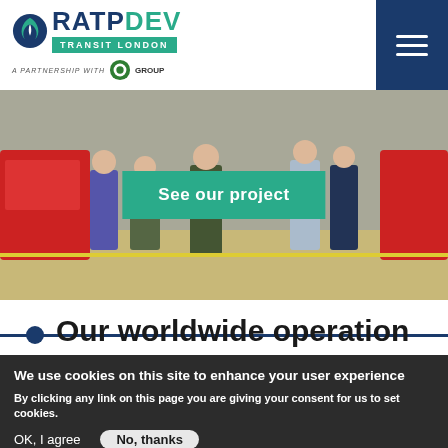[Figure (logo): RATP Dev Transit London logo with partnership badge]
[Figure (photo): Outdoor scene with people standing near a red bus, with a teal 'See our project' button overlay]
Our worldwide operation
We use cookies on this site to enhance your user experience
By clicking any link on this page you are giving your consent for us to set cookies.
More info
OK, I agree
No, thanks